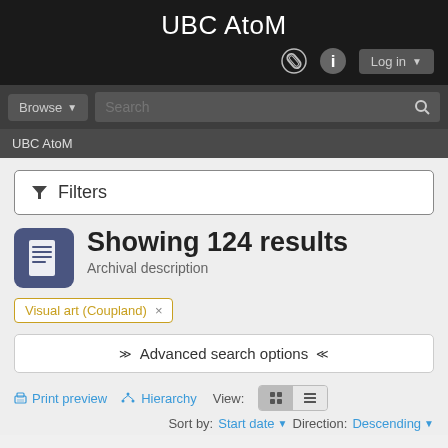UBC AtoM
UBC AtoM
Filters
Showing 124 results
Archival description
Visual art (Coupland) ×
«   Advanced search options   »
Print preview   Hierarchy   View:   Sort by: Start date ▼   Direction: Descending ▼